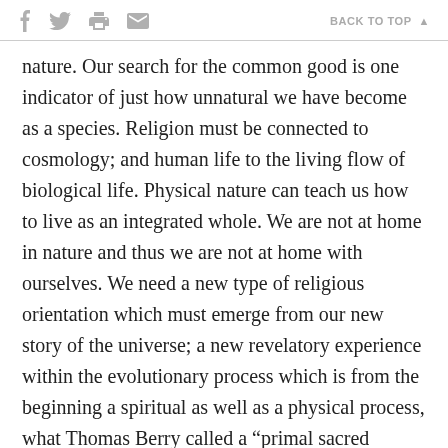f [twitter] [print] [mail]   BACK TO TOP ▲
nature. Our search for the common good is one indicator of just how unnatural we have become as a species. Religion must be connected to cosmology; and human life to the living flow of biological life. Physical nature can teach us how to live as an integrated whole. We are not at home in nature and thus we are not at home with ourselves. We need a new type of religious orientation which must emerge from our new story of the universe; a new revelatory experience within the evolutionary process which is from the beginning a spiritual as well as a physical process, what Thomas Berry called a “primal sacred community.” To return to nature is to return to God, the living God who is still creating this universe. This